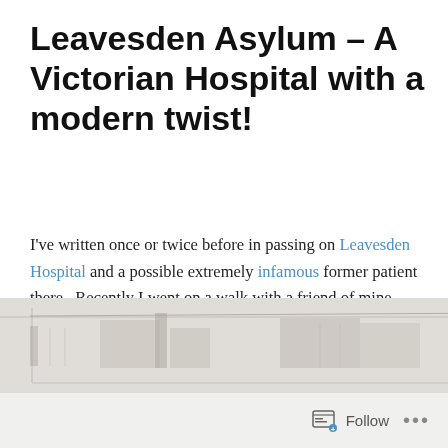Leavesden Asylum – A Victorian Hospital with a modern twist!
I've written once or twice before in passing on Leavesden Hospital and a possible extremely infamous former patient there.  Recently I went on a walk with a friend of mine ostensibly to create a book promo video for a novel which I'm in the process of writing. Leavesden Asylum was a vast site that was built in 1870.
[Figure (photo): Faded historical sketch or photograph of a large building, likely Leavesden Asylum, shown in a light grey/sepia tone at the bottom of the page.]
Follow ···